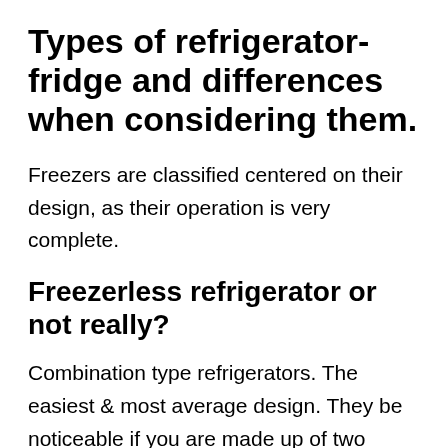Types of refrigerator-fridge and differences when considering them.
Freezers are classified centered on their design, as their operation is very complete.
Freezerless refrigerator or not really?
Combination type refrigerators. The easiest & most average design. They be noticeable if you are made up of two compartments, one for standard refrigeration and something for